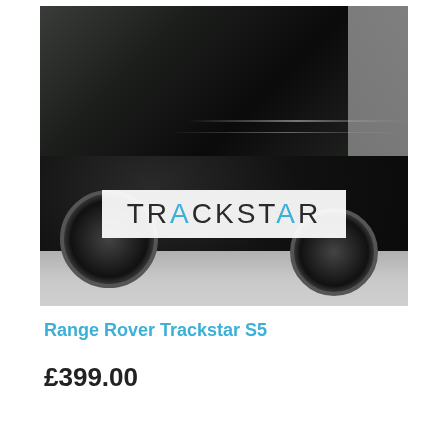[Figure (photo): Black Range Rover luxury SUV parked on a street, viewed from the side/rear quarter angle, with a TRACKSTAR logo overlay on a white semi-transparent banner in the lower center of the image.]
Range Rover Trackstar S5
£399.00